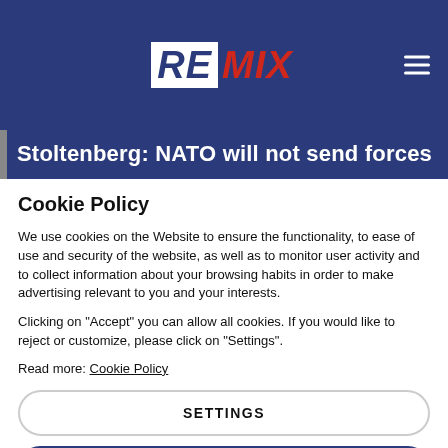REMIX
Stoltenberg: NATO will not send forces
Cookie Policy
We use cookies on the Website to ensure the functionality, to ease of use and security of the website, as well as to monitor user activity and to collect information about your browsing habits in order to make advertising relevant to you and your interests.
Clicking on "Accept" you can allow all cookies. If you would like to reject or customize, please click on "Settings".
Read more: Cookie Policy
SETTINGS
ACCEPT